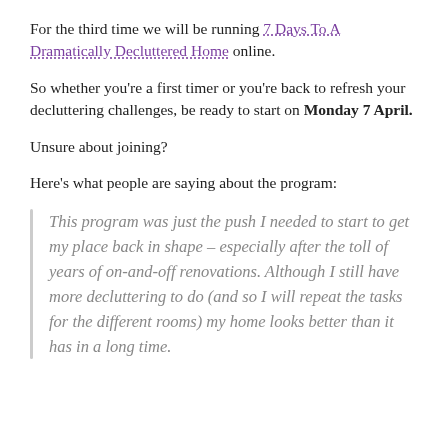For the third time we will be running 7 Days To A Dramatically Decluttered Home online.
So whether you're a first timer or you're back to refresh your decluttering challenges, be ready to start on Monday 7 April.
Unsure about joining?
Here's what people are saying about the program:
This program was just the push I needed to start to get my place back in shape – especially after the toll of years of on-and-off renovations. Although I still have more decluttering to do (and so I will repeat the tasks for the different rooms) my home looks better than it has in a long time.